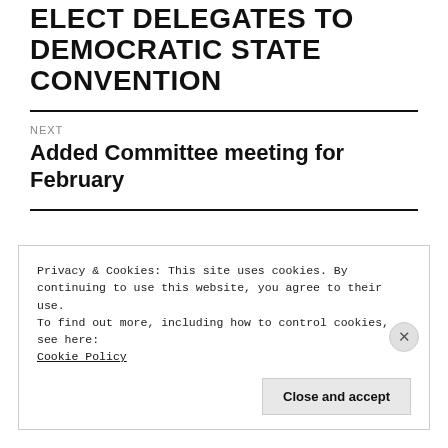ELECT DELEGATES TO DEMOCRATIC STATE CONVENTION
NEXT
Added Committee meeting for February
Privacy & Cookies: This site uses cookies. By continuing to use this website, you agree to their use.
To find out more, including how to control cookies, see here:
Cookie Policy
Close and accept